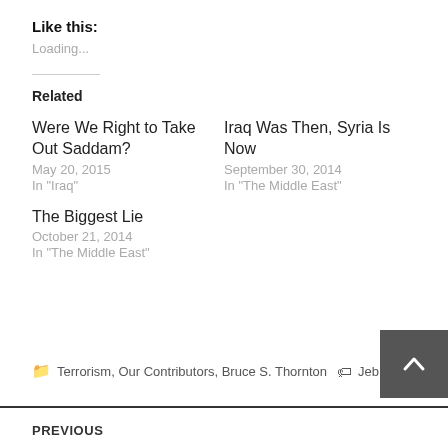Like this:
Loading...
Related
Were We Right to Take Out Saddam?
May 20, 2015
In "Iraq"
Iraq Was Then, Syria Is Now
September 30, 2014
In "The Middle East"
The Biggest Lie
October 21, 2014
In "The Middle East"
Terrorism, Our Contributors, Bruce S. Thornton  Jeb Bus[h]
PREVIOUS